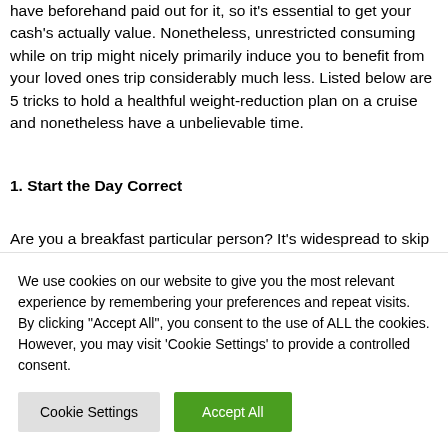have beforehand paid out for it, so it's essential to get your cash's actually value. Nonetheless, unrestricted consuming while on trip might nicely primarily induce you to benefit from your loved ones trip considerably much less. Listed below are 5 tricks to hold a healthful weight-reduction plan on a cruise and nonetheless have a unbelievable time.
1. Start the Day Correct
Are you a breakfast particular person? It's widespread to skip breakfast in favor of time and simply devour espresso until lunch. On a cruise, there are a number of
We use cookies on our website to give you the most relevant experience by remembering your preferences and repeat visits. By clicking "Accept All", you consent to the use of ALL the cookies. However, you may visit 'Cookie Settings' to provide a controlled consent.